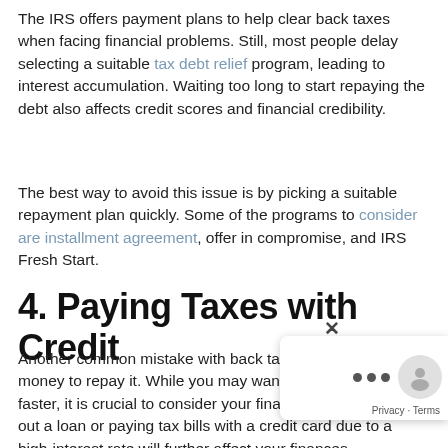The IRS offers payment plans to help clear back taxes when facing financial problems. Still, most people delay selecting a suitable tax debt relief program, leading to interest accumulation. Waiting too long to start repaying the debt also affects credit scores and financial credibility.
The best way to avoid this issue is by picking a suitable repayment plan quickly. Some of the programs to consider are installment agreement, offer in compromise, and IRS Fresh Start.
4. Paying Taxes with Credit
Another common mistake with back taxes is borrowing money to repay it. While you may want to clear your debt faster, it is crucial to consider your financial situation. Taking out a loan or paying tax bills with a credit card due to a high-interest rate will further affect your finances.